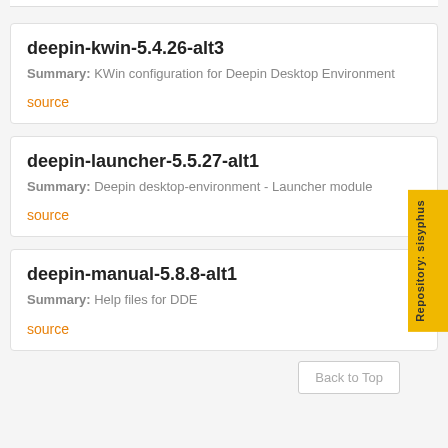deepin-kwin-5.4.26-alt3
Summary: KWin configuration for Deepin Desktop Environment
source
deepin-launcher-5.5.27-alt1
Summary: Deepin desktop-environment - Launcher module
source
Repository: sisyphus
deepin-manual-5.8.8-alt1
Summary: Help files for DDE
source
Back to Top